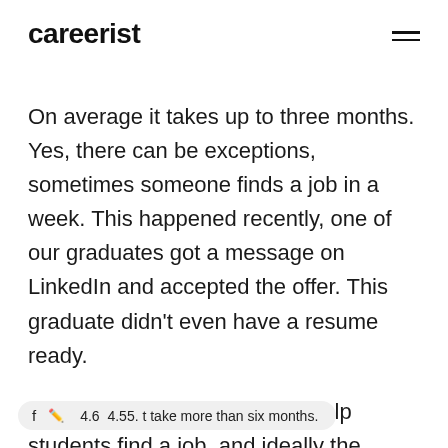careerist
On average it takes up to three months. Yes, there can be exceptions, sometimes someone finds a job in a week. This happened recently, one of our graduates got a message on LinkedIn and accepted the offer. This graduate didn't even have a resume ready.
We do have tools in place to help students find a job, and ideally the whole process shouldn't take more than six months.
f 4.6  4.55  t take more than six months.